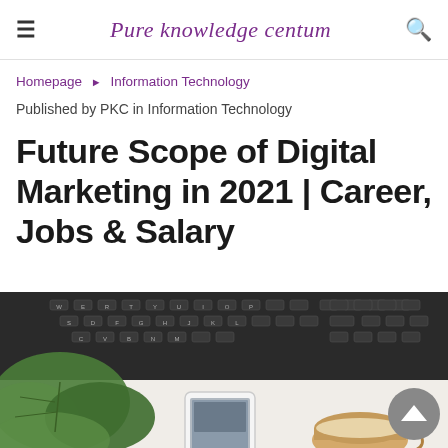≡   Pure knowledge centum   🔍
Homepage ▶ Information Technology
Published by PKC in Information Technology
Future Scope of Digital Marketing in 2021 | Career, Jobs & Salary
[Figure (photo): Overhead desk photo showing a laptop keyboard, a monstera plant leaf, a smartphone, and a coffee cup on a white surface]